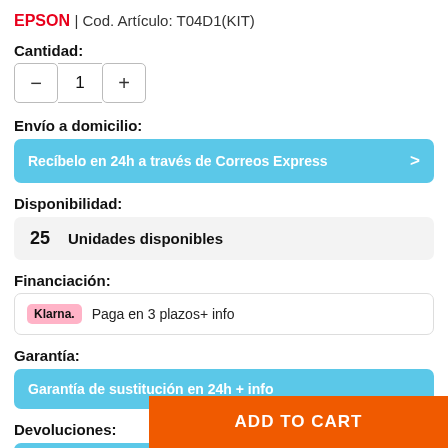EPSON | Cod. Artículo: T04D1(KIT)
Cantidad:
Envío a domicilio:
Recíbelo en 24h a través de Correos Express
Disponibilidad:
25   Unidades disponibles
Financiación:
Klarna. Paga en 3 plazos+ info
Garantía:
Garantía de sustitución en 24h + info
Devoluciones:
ADD TO CART